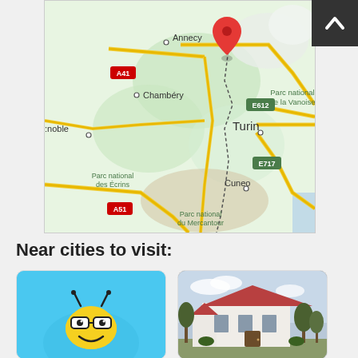[Figure (map): Google Maps style map showing French Alps and northern Italy region, with cities Annecy, Chambéry, Grenoble, Turin, Cuneo labeled. National parks: Parc national de la Vanoise, Parc national des Écrins, Parc national du Mercantour. Roads A41, A51, E612, E717 labeled. Red map pin marker in upper center area near French-Italian border.]
Near cities to visit:
[Figure (illustration): App icon with light blue background showing a cartoon bee face with glasses and a smile]
[Figure (photo): Photo of a white historic building with red tiled roof and bare trees in front]